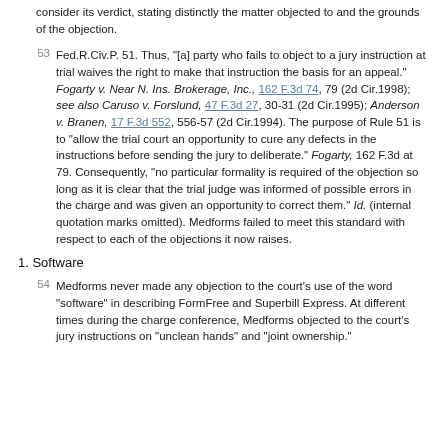consider its verdict, stating distinctly the matter objected to and the grounds of the objection.
53  Fed.R.Civ.P. 51. Thus, "[a] party who fails to object to a jury instruction at trial waives the right to make that instruction the basis for an appeal." Fogarty v. Near N. Ins. Brokerage, Inc., 162 F.3d 74, 79 (2d Cir.1998); see also Caruso v. Forslund, 47 F.3d 27, 30-31 (2d Cir.1995); Anderson v. Branen, 17 F.3d 552, 556-57 (2d Cir.1994). The purpose of Rule 51 is to "allow the trial court an opportunity to cure any defects in the instructions before sending the jury to deliberate." Fogarty, 162 F.3d at 79. Consequently, "no particular formality is required of the objection so long as it is clear that the trial judge was informed of possible errors in the charge and was given an opportunity to correct them." Id. (internal quotation marks omitted). Medforms failed to meet this standard with respect to each of the objections it now raises.
1. Software
54  Medforms never made any objection to the court's use of the word "software" in describing FormFree and Superbill Express. At different times during the charge conference, Medforms objected to the court's jury instructions on "unclean hands" and "joint ownership."